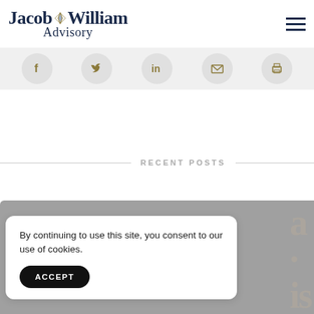[Figure (logo): Jacob William Advisory logo with diamond star icon between 'Jacob' and 'William', serif font, dark navy blue color]
[Figure (infographic): Social sharing icons in circular gray buttons: Facebook, Twitter, LinkedIn, Email, Print]
RECENT POSTS
[Figure (photo): Gray placeholder image for a recent blog post with Jacob William Advisory watermark text visible]
By continuing to use this site, you consent to our use of cookies.
ACCEPT